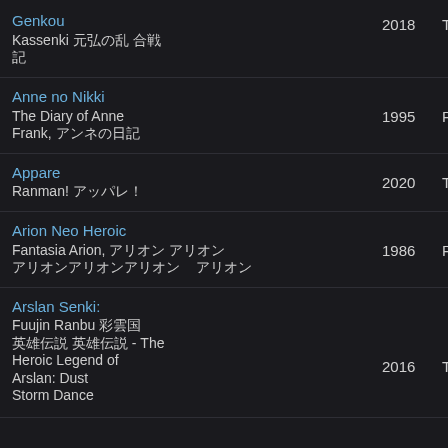Genkou Kassenki 元弘の乱 合戦記, 2018, TV
Anne no Nikki The Diary of Anne Frank, アンネの日記, 1995, Película
Appare Ranman! アッパレ!ランマン!, 2020, TV
Arion Neo Heroic Fantasia Arion, アリオン アリオン, 1986, Película
Arslan Senki: Fuujin Ranbu 彩雲国物語 英雄伝説 - The Heroic Legend of Arslan: Dust Storm Dance, 2016, TV